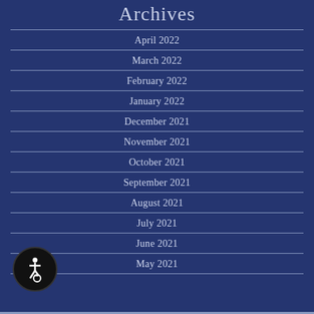Archives
April 2022
March 2022
February 2022
January 2022
December 2021
November 2021
October 2021
September 2021
August 2021
July 2021
June 2021
May 2021